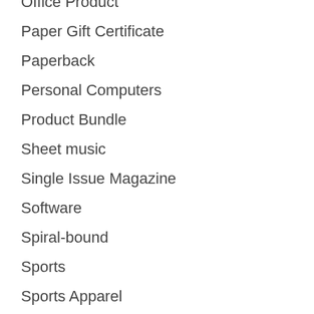Office Product
Paper Gift Certificate
Paperback
Personal Computers
Product Bundle
Sheet music
Single Issue Magazine
Software
Spiral-bound
Sports
Sports Apparel
Tools & Hardware
Tools & Home Improvement